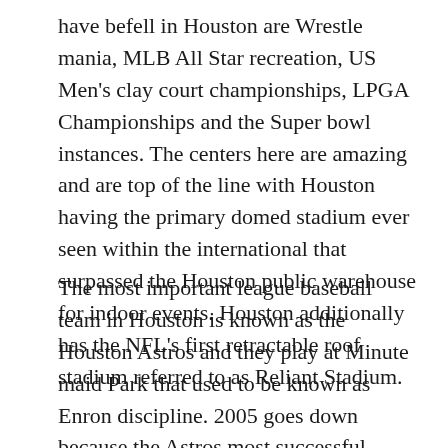have befell in Houston are Wrestle mania, MLB All Star recreation, US Men's clay court championships, LPGA Championships and the Super bowl instances. The centers here are amazing and are top of the line with Houston having the primary domed stadium ever seen within the international that surpassed the Houston public warehouse for indoor events. Houston additionally has the NFL's first retractable roof stadium referred to as Reliant Stadium.
The most important league baseball team in Houston is known as the Houston Astros and they play at Minute maid Park that used to be known as Enron discipline. 2005 goes down because the Astros most successful season making it to the World Series towards the Chicago White Sox. The group turned into firstly called the Colt.Forty five's but changed once they moved into the first domed stadium referred to as the Astrodome. This call became the connection with the importance